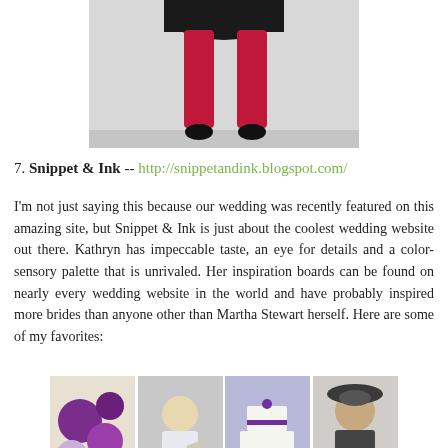[Figure (photo): Lower half of a woman wearing a black skirt, red/magenta tights, and black heels, standing against a light background]
7. Snippet & Ink -- http://snippetandink.blogspot.com/
I'm not just saying this because our wedding was recently featured on this amazing site, but Snippet & Ink is just about the coolest wedding website out there. Kathryn has impeccable taste, an eye for details and a color-sensory palette that is unrivaled. Her inspiration boards can be found on nearly every wedding website in the world and have probably inspired more brides than anyone other than Martha Stewart herself. Here are some of my favorites:
[Figure (photo): Four-image collage: purple and white paper lanterns; a blonde child writing; a white wedding cake with purple ribbon; a woman wearing a decorative hat]